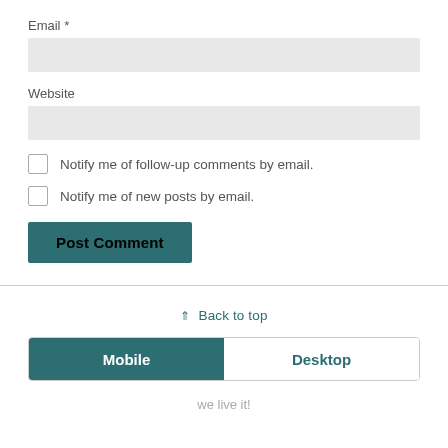Email *
Website
Notify me of follow-up comments by email.
Notify me of new posts by email.
Post Comment
⇑ Back to top
Mobile | Desktop
we live it!